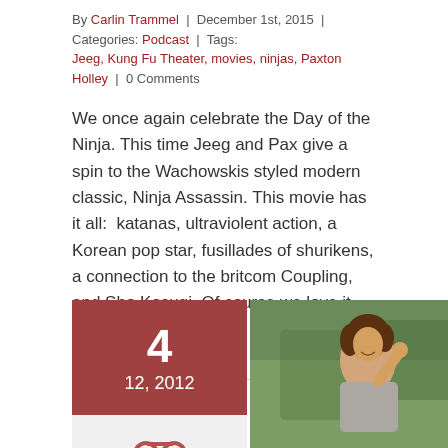By Carlin Trammel | December 1st, 2015 | Categories: Podcast | Tags: Jeeg, Kung Fu Theater, movies, ninjas, Paxton Holley | 0 Comments
We once again celebrate the Day of the Ninja. This time Jeeg and Pax give a spin to the Wachowskis styled modern classic, Ninja Assassin. This movie has it all:  katanas, ultraviolent action, a Korean pop star, fusillades of shurikens, a connection to the britcom Coupling, and Sho Kosugi. Of course we love it. Stick [...]
Read More >
[Figure (other): Date block showing day 4, month/year 12, 2012 in dark red/maroon background with white text, and a headphones icon below it. Next to it is a photo of a smiling woman outdoors.]